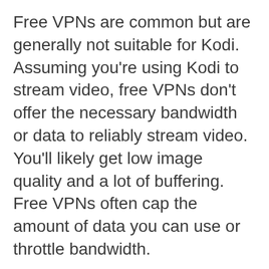Free VPNs are common but are generally not suitable for Kodi. Assuming you're using Kodi to stream video, free VPNs don't offer the necessary bandwidth or data to reliably stream video. You'll likely get low image quality and a lot of buffering. Free VPNs often cap the amount of data you can use or throttle bandwidth.
Most free VPNs don't make apps for Amazon Fire TV or other Kodi devices. Their customer support is practically nonexistent, so don't expect any help in finding a workaround.
Online privacy is also a concern with free VPNs. They have to make money somehow, and many resort to collecting personal data, injecting ads into websites, or worse, and that could life